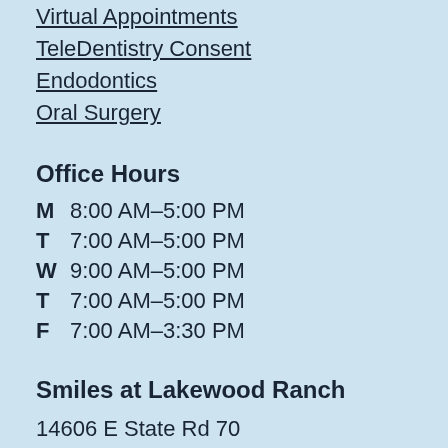Virtual Appointments
TeleDentistry Consent
Endodontics
Oral Surgery
Office Hours
M  8:00 AM–5:00 PM
T  7:00 AM–5:00 PM
W  9:00 AM–5:00 PM
T  7:00 AM–5:00 PM
F  7:00 AM–3:30 PM
Smiles at Lakewood Ranch
14606 E State Rd 70
Lakewood Ranch, FL 34202